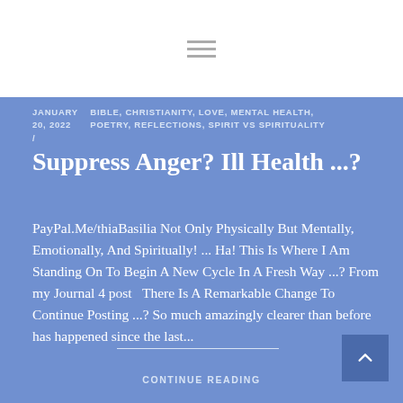JANUARY 20, 2022 / BIBLE, CHRISTIANITY, LOVE, MENTAL HEALTH, POETRY, REFLECTIONS, SPIRIT VS SPIRITUALITY /
Suppress Anger? Ill Health ...?
PayPal.Me/thiaBasilia Not Only Physically But Mentally, Emotionally, And Spiritually! ... Ha! This Is Where I Am Standing On To Begin A New Cycle In A Fresh Way ...? From my Journal 4 post  There Is A Remarkable Change To Continue Posting ...? So much amazingly clearer than before has happened since the last...
CONTINUE READING